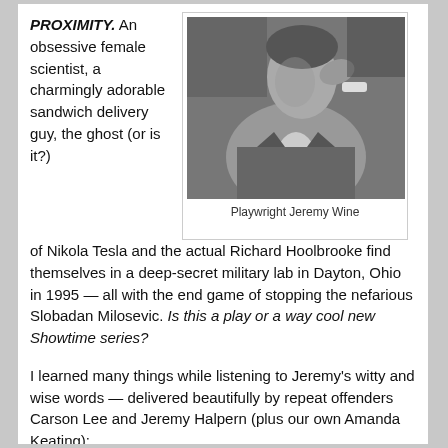PROXIMITY. An obsessive female scientist, a charmingly adorable sandwich delivery guy, the ghost (or is it?) of Nikola Tesla and the actual Richard Hoolbrooke find themselves in a deep-secret military lab in Dayton, Ohio in 1995 — all with the end game of stopping the nefarious Slobadan Milosevic. Is this a play or a way cool new Showtime series?
[Figure (photo): Black and white portrait photograph of a man in a suit, hand raised near his face, looking upward. Identified as Playwright Jeremy Wine.]
Playwright Jeremy Wine
I learned many things while listening to Jeremy's witty and wise words — delivered beautifully by repeat offenders Carson Lee and Jeremy Halpern (plus our own Amanda Keating):